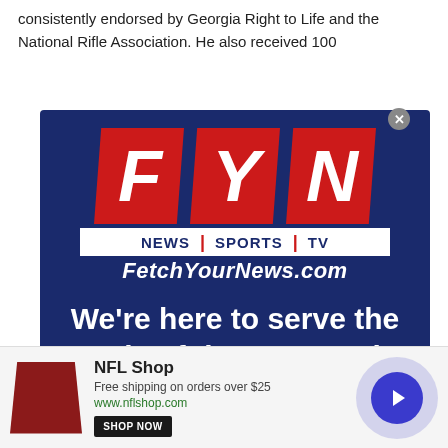consistently endorsed by Georgia Right to Life and the National Rifle Association. He also received 100
[Figure (logo): FYN (FetchYourNews.com) advertisement with navy blue background, red and white logo showing F, Y, N letters, NEWS | SPORTS | TV bar, FetchYourNews.com italic text, and message: We're here to serve the needs of the community. You can help in that mission by becoming a]
[Figure (other): NFL Shop advertisement banner at bottom: image of red NFL products, text 'NFL Shop', 'Free shipping on orders over $25', 'www.nflshop.com', 'SHOP NOW' button, and a blue circular arrow button on right]